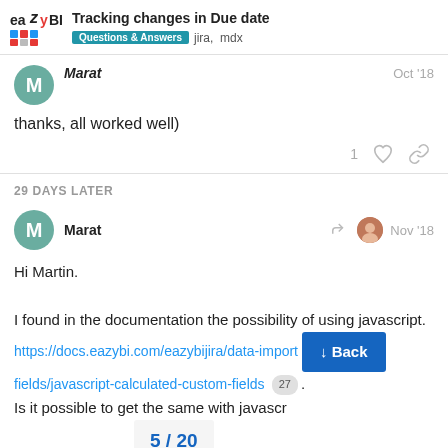eazyBI — Tracking changes in Due date | Questions & Answers  jira, mdx
Marat  Oct '18
thanks, all worked well)
1 ♡ 🔗
29 DAYS LATER
Marat  Nov '18
Hi Martin.

I found in the documentation the possibility of using javascript.
https://docs.eazybi.com/eazybijira/data-import/fields/javascript-calculated-custom-fields 27 .
Is it possible to get the same with javascr
↓ Back
5 / 20